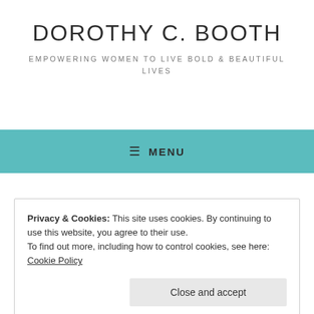DOROTHY C. BOOTH
EMPOWERING WOMEN TO LIVE BOLD & BEAUTIFUL LIVES
≡ MENU
Privacy & Cookies: This site uses cookies. By continuing to use this website, you agree to their use.
To find out more, including how to control cookies, see here: Cookie Policy
Close and accept